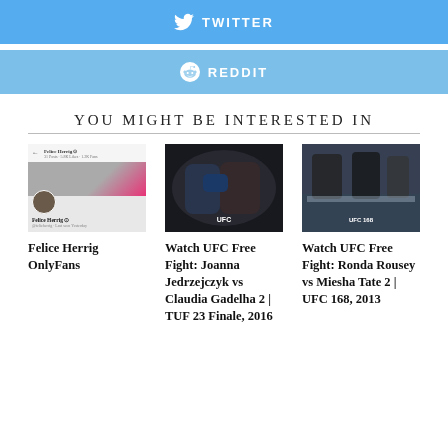[Figure (other): Twitter share button bar - blue background with Twitter bird icon and TWITTER text]
[Figure (other): Reddit share button bar - light blue background with Reddit alien icon and REDDIT text]
YOU MIGHT BE INTERESTED IN
[Figure (screenshot): Screenshot of Felice Herrig Facebook page showing profile cover photo with pink gradient, avatar, name and stats]
Felice Herrig OnlyFans
[Figure (photo): UFC fight photo showing two fighters exchanging punches with blue UFC gloves in a dark arena]
Watch UFC Free Fight: Joanna Jedrzejczyk vs Claudia Gadelha 2 | TUF 23 Finale, 2016
[Figure (photo): UFC event photo showing fighters and cornermen in a bright arena with blue and white colors]
Watch UFC Free Fight: Ronda Rousey vs Miesha Tate 2 | UFC 168, 2013